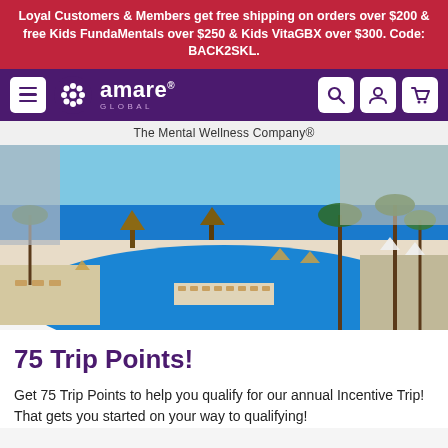Loyal Customers & Members get free shipping on orders over $200 & free Kids FundaMentals over $250 & Kids VitaGBX over $300. Code: BACK2SKL.
[Figure (screenshot): Amare Global navigation bar with hamburger menu, Amare Global logo with snowflake icon, and search/account/cart icons on purple background]
The Mental Wellness Company®
[Figure (photo): Aerial view of a luxury beach resort with a large oval swimming pool, palm trees, lounge chairs, thatched roof palapas, and ocean in background]
75 Trip Points!
Get 75 Trip Points to help you qualify for our annual Incentive Trip! That gets you started on your way to qualifying!